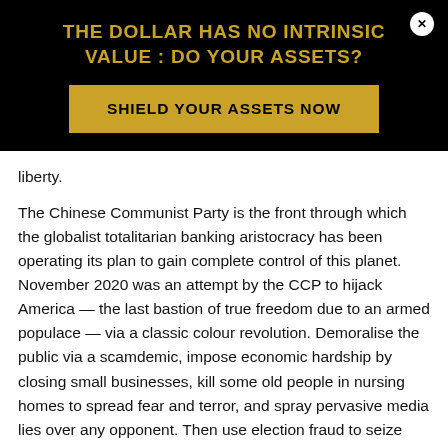THE DOLLAR HAS NO INTRINSIC VALUE : DO YOUR ASSETS?
SHIELD YOUR ASSETS NOW
liberty.
The Chinese Communist Party is the front through which the globalist totalitarian banking aristocracy has been operating its plan to gain complete control of this planet. November 2020 was an attempt by the CCP to hijack America — the last bastion of true freedom due to an armed populace — via a classic colour revolution. Demoralise the public via a scamdemic, impose economic hardship by closing small businesses, kill some old people in nursing homes to spread fear and terror, and spray pervasive media lies over any opponent. Then use election fraud to seize control without having to send a single soldier or fire a shot.